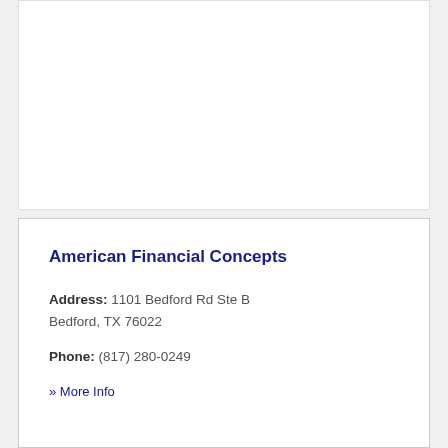American Financial Concepts
Address: 1101 Bedford Rd Ste B Bedford, TX 76022
Phone: (817) 280-0249
» More Info